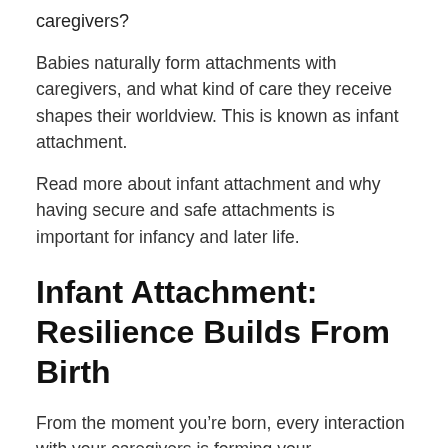caregivers?
Babies naturally form attachments with caregivers, and what kind of care they receive shapes their worldview. This is known as infant attachment.
Read more about infant attachment and why having secure and safe attachments is important for infancy and later life.
Infant Attachment: Resilience Builds From Birth
From the moment you’re born, every interaction with your caregivers is forming your understanding of the world and teaching you how to have relationships with others. The biggest predictor of your ability to cope with challenges in life is the security you feel with your primary caregiver during the first two years of your life. Secure attachment in babies is a huge part of this resilience.